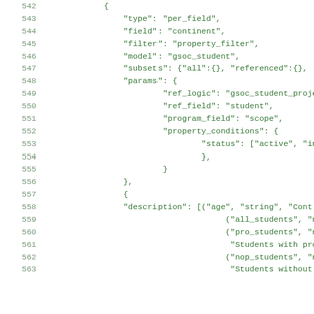Code listing lines 542-563, JSON configuration block with fields: type, field, filter, model, subsets, params (ref_logic, ref_field, program_field, property_conditions with status), followed by another object with description field containing tuples for age, all_students, pro_students, Students with project, nop_students, Students without pro.